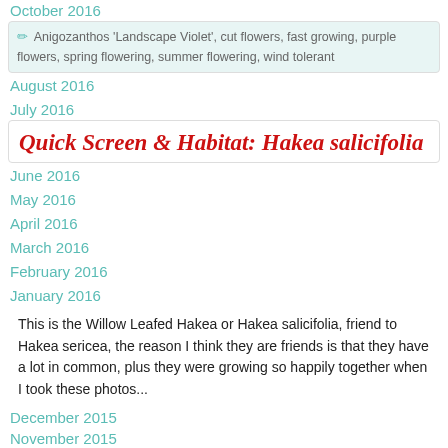October 2016
Anigozanthos 'Landscape Violet', cut flowers, fast growing, purple flowers, spring flowering, summer flowering, wind tolerant
August 2016
July 2016
Quick Screen & Habitat: Hakea salicifolia
June 2016
May 2016
April 2016
March 2016
February 2016
January 2016
This is the Willow Leafed Hakea or Hakea salicifolia, friend to Hakea sericea, the reason I think they are friends is that they have a lot in common, plus they were growing so happily together when I took these photos...
December 2015
November 2015
October 2015
Read more ›
September 2015
Bird attracting, Coastal, Drought hardy, Screening plants, Winter